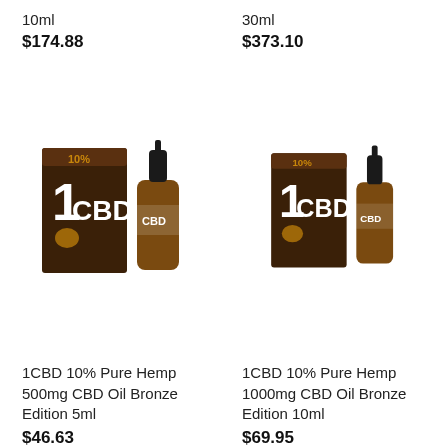10ml
$174.88
30ml
$373.10
[Figure (photo): 1CBD 10% Pure Hemp CBD Oil Bronze Edition product - box and dropper bottle]
[Figure (photo): 1CBD 10% Pure Hemp CBD Oil Bronze Edition product - box and dropper bottle]
1CBD 10% Pure Hemp 500mg CBD Oil Bronze Edition 5ml
$46.63
1CBD 10% Pure Hemp 1000mg CBD Oil Bronze Edition 10ml
$69.95